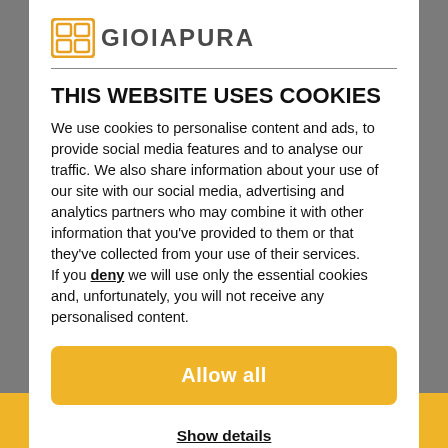[Figure (logo): GioiaPura logo with orange square icon and bold uppercase text]
THIS WEBSITE USES COOKIES
We use cookies to personalise content and ads, to provide social media features and to analyse our traffic. We also share information about your use of our site with our social media, advertising and analytics partners who may combine it with other information that you've provided to them or that they've collected from your use of their services.
If you deny we will use only the essential cookies and, unfortunately, you will not receive any personalised content.
Allow all
Show details